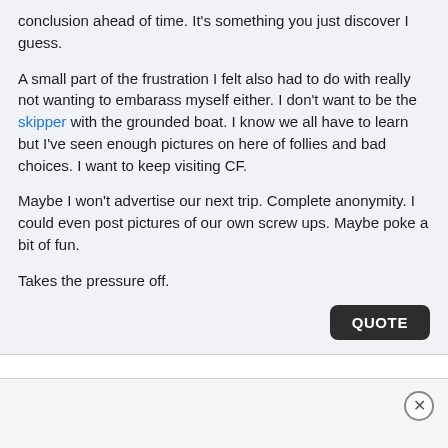conclusion ahead of time. It's something you just discover I guess.

A small part of the frustration I felt also had to do with really not wanting to embarass myself either. I don't want to be the skipper with the grounded boat. I know we all have to learn but I've seen enough pictures on here of follies and bad choices. I want to keep visiting CF.

Maybe I won't advertise our next trip. Complete anonymity. I could even post pictures of our own screw ups. Maybe poke a bit of fun.

Takes the pressure off.